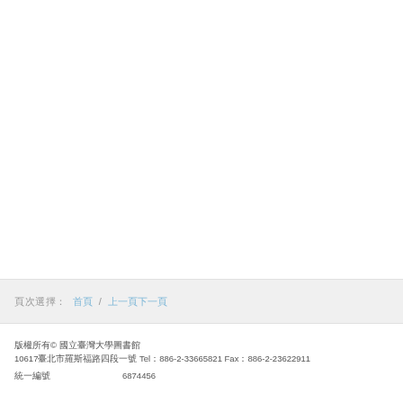頁次選擇:  首頁 / 上一頁下一頁
版權所有© 國立臺灣大學圖書館
10617臺北市羅斯福路四段一號 Tel：886-2-33665821 Fax：886-2-23622911

統一編號                    6874456